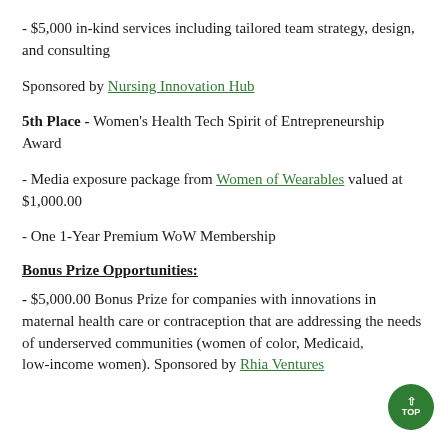- $5,000 in-kind services including tailored team strategy, design, and consulting
Sponsored by Nursing Innovation Hub
5th Place - Women's Health Tech Spirit of Entrepreneurship Award
- Media exposure package from Women of Wearables valued at $1,000.00
- One 1-Year Premium WoW Membership
Bonus Prize Opportunities:
- $5,000.00 Bonus Prize for companies with innovations in maternal health care or contraception that are addressing the needs of underserved communities (women of color, Medicaid, low-income women). Sponsored by Rhia Ventures